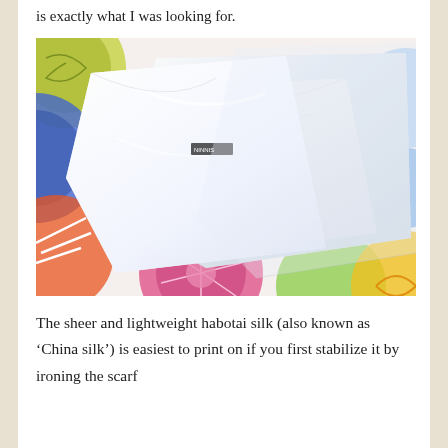is exactly what I was looking for.
[Figure (photo): White habotai silk scarves folded and stacked on top of a colorful painted background featuring circles in pink, blue, orange, yellow, and green. A small label is visible on one of the silk pieces.]
The sheer and lightweight habotai silk (also known as ‘China silk’) is easiest to print on if you first stabilize it by ironing the scarf